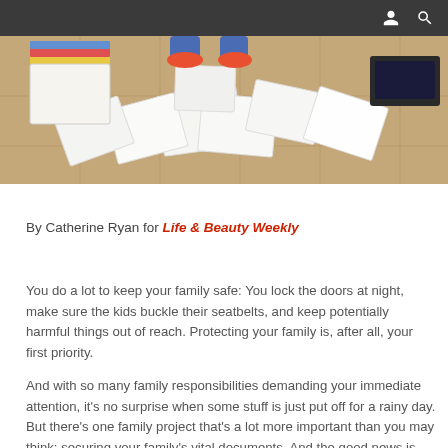[Figure (photo): Overhead view of papers/documents spread on a floor, with a person's legs visible at the top of the image]
By Catherine Ryan for Life & Beauty Weekly
You do a lot to keep your family safe: You lock the doors at night, make sure the kids buckle their seatbelts, and keep potentially harmful things out of reach. Protecting your family is, after all, your first priority.

And with so many family responsibilities demanding your immediate attention, it's no surprise when some stuff is just put off for a rainy day. But there's one family project that's a lot more important than you may think: securing your family's vital documents. And the good news is that it's a lot easier to